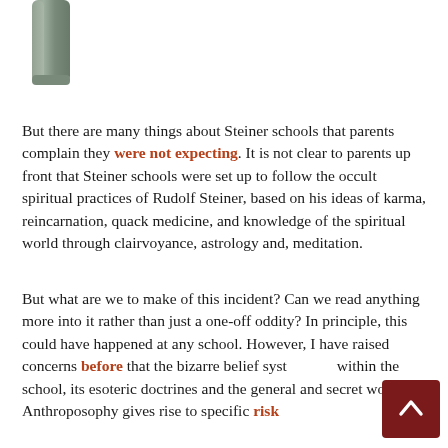[Figure (photo): Partial image of a grey/slate colored cylindrical or elongated object, cropped at the top of the page.]
But there are many things about Steiner schools that parents complain they were not expecting. It is not clear to parents up front that Steiner schools were set up to follow the occult spiritual practices of Rudolf Steiner, based on his ideas of karma, reincarnation, quack medicine, and knowledge of the spiritual world through clairvoyance, astrology and, meditation.
But what are we to make of this incident? Can we read anything more into it rather than just a one-off oddity? In principle, this could have happened at any school. However, I have raised concerns before that the bizarre belief system within the school, its esoteric doctrines and the general and secret world of Anthroposophy gives rise to specific risk